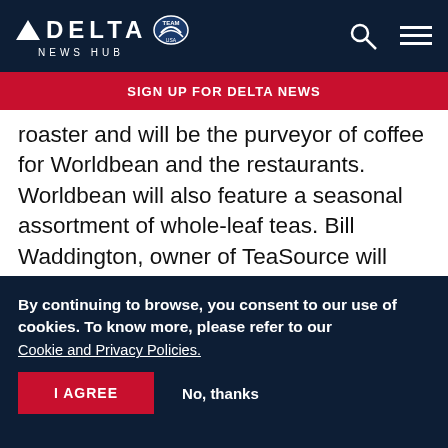DELTA NEWS HUB
SIGN UP FOR DELTA NEWS
roaster and will be the purveyor of coffee for Worldbean and the restaurants. Worldbean will also feature a seasonal assortment of whole-leaf teas. Bill Waddington, owner of TeaSource will select the seasonal teas and help guide the baristas on proper brewing techniques.
About Delta
By continuing to browse, you consent to our use of cookies. To know more, please refer to our Cookie and Privacy Policies.